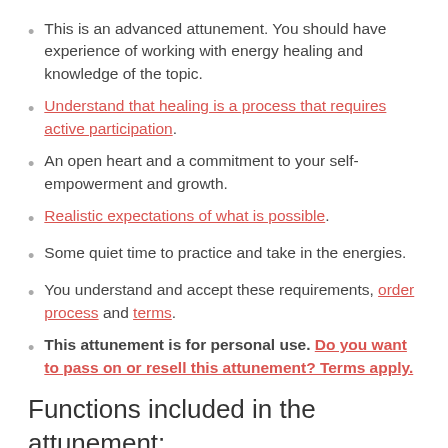This is an advanced attunement. You should have experience of working with energy healing and knowledge of the topic.
Understand that healing is a process that requires active participation.
An open heart and a commitment to your self-empowerment and growth.
Realistic expectations of what is possible.
Some quiet time to practice and take in the energies.
You understand and accept these requirements, order process and terms.
This attunement is for personal use. Do you want to pass on or resell this attunement? Terms apply.
Functions included in the attunement: